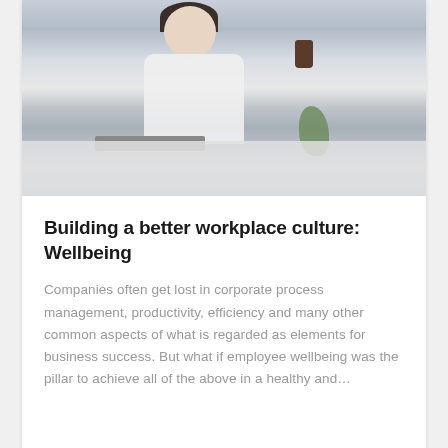[Figure (photo): A smiling woman with dark hair sitting at a desk in an office, holding a coffee cup, with a laptop, notebook, and plant in the foreground.]
Building a better workplace culture: Wellbeing
Companies often get lost in corporate process management, productivity, efficiency and many other common aspects of what is regarded as elements for business success. But what if employee wellbeing was the pillar to achieve all of the above in a healthy and…